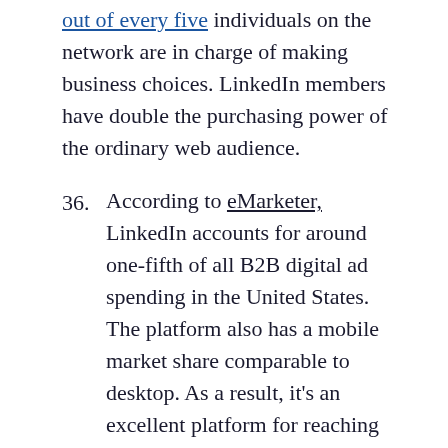out of every five individuals on the network are in charge of making business choices. LinkedIn members have double the purchasing power of the ordinary web audience.
36. According to eMarketer, LinkedIn accounts for around one-fifth of all B2B digital ad spending in the United States. The platform also has a mobile market share comparable to desktop. As a result, it's an excellent platform for reaching mobile customers.